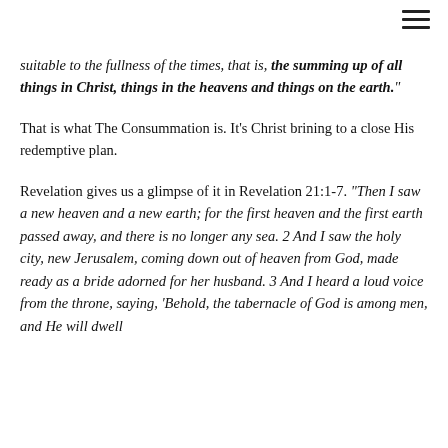[Figure (other): Hamburger menu icon (three horizontal lines) in top-right corner]
suitable to the fullness of the times, that is, the summing up of all things in Christ, things in the heavens and things on the earth."
That is what The Consummation is. It's Christ brining to a close His redemptive plan.
Revelation gives us a glimpse of it in Revelation 21:1-7. "Then I saw a new heaven and a new earth; for the first heaven and the first earth passed away, and there is no longer any sea. 2 And I saw the holy city, new Jerusalem, coming down out of heaven from God, made ready as a bride adorned for her husband. 3 And I heard a loud voice from the throne, saying, 'Behold, the tabernacle of God is among men, and He will dwell